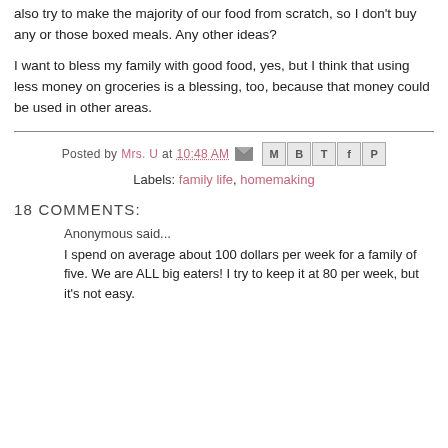also try to make the majority of our food from scratch, so I don't buy any or those boxed meals. Any other ideas?
I want to bless my family with good food, yes, but I think that using less money on groceries is a blessing, too, because that money could be used in other areas.
Posted by Mrs. U at 10:48 AM
Labels: family life, homemaking
18 COMMENTS:
Anonymous said...
I spend on average about 100 dollars per week for a family of five. We are ALL big eaters! I try to keep it at 80 per week, but it's not easy.